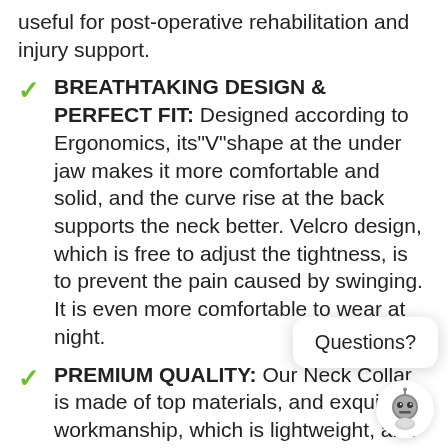useful for post-operative rehabilitation and injury support.
BREATHTAKING DESIGN & PERFECT FIT: Designed according to Ergonomics, its"V"shape at the under jaw makes it more comfortable and solid, and the curve rise at the back supports the neck better. Velcro design, which is free to adjust the tightness, is to prevent the pain caused by swinging. It is even more comfortable to wear at night.
PREMIUM QUALITY: Our Neck Collar is made of top materials, and exquisite workmanship, which is lightweight, and relieves pain without compromising your